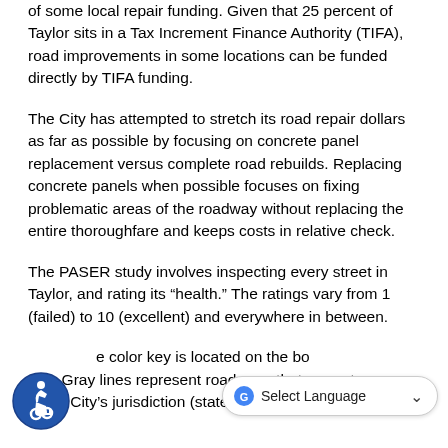of some local repair funding. Given that 25 percent of Taylor sits in a Tax Increment Finance Authority (TIFA), road improvements in some locations can be funded directly by TIFA funding.
The City has attempted to stretch its road repair dollars as far as possible by focusing on concrete panel replacement versus complete road rebuilds. Replacing concrete panels when possible focuses on fixing problematic areas of the roadway without replacing the entire thoroughfare and keeps costs in relative check.
The PASER study involves inspecting every street in Taylor, and rating its “health.” The ratings vary from 1 (failed) to 10 (excellent) and everywhere in between.
The color key is located on the bo... aps. Gray lines represent roadways that are not in the City’s jurisdiction (state, county, private...